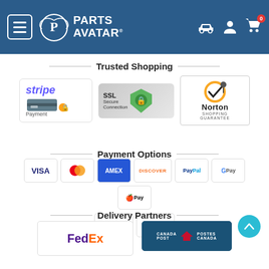[Figure (logo): Parts Avatar website header with navigation menu button, logo, car icon, user icon, and cart icon with badge showing 0]
Trusted Shopping
[Figure (logo): Three trust badges: Stripe Payment logo, SSL Secure Connection badge with green lock, Norton Shopping Guarantee badge]
Payment Options
[Figure (logo): Payment method logos: VISA, Mastercard, AMEX, DISCOVER, PayPal, G Pay, Apple Pay, sezzle, flexiti]
Delivery Partners
[Figure (logo): Delivery partner logos: FedEx and Canada Post / Postes Canada]